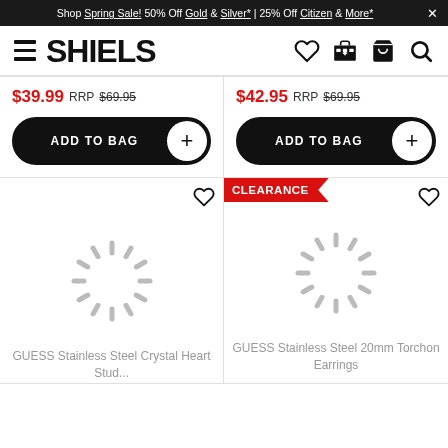Shop Spring Sale! 50% Off Gold & Silver* | 25% Off Citizen & More* ×
[Figure (logo): Shiels jewellery store logo with hamburger menu, heart, store, bag and search icons]
$39.99 RRP $69.95
ADD TO BAG +
$42.95 RRP $69.95
ADD TO BAG +
[Figure (photo): Product card with loading spinner for GUESS Stainless Steel Crystal Heart Stud earrings]
GUESS Stainless Steel Crystal Heart Stud...
[Figure (photo): Product card with CLEARANCE badge and loading spinner for GUESS Stainless Steel 20mm Torchon Earrings]
GUESS Stainless Steel 20mm Torchon Earrings